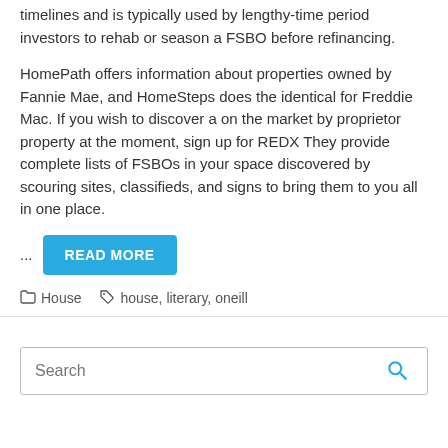timelines and is typically used by lengthy-time period investors to rehab or season a FSBO before refinancing.
HomePath offers information about properties owned by Fannie Mae, and HomeSteps does the identical for Freddie Mac. If you wish to discover a on the market by proprietor property at the moment, sign up for REDX They provide complete lists of FSBOs in your space discovered by scouring sites, classifieds, and signs to bring them to you all in one place.
... READ MORE
House   house, literary, oneill
Search